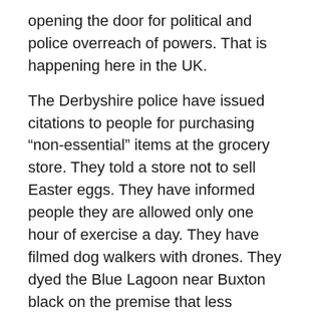opening the door for political and police overreach of powers. That is happening here in the UK.
The Derbyshire police have issued citations to people for purchasing “non-essential” items at the grocery store. They told a store not to sell Easter eggs. They have informed people they are allowed only one hour of exercise a day. They have filmed dog walkers with drones. They dyed the Blue Lagoon near Buxton black on the premise that less attractive would keep folks at home.
The overreach of powers shouldn’t surprise anyone who has read the Bible from cover to cover. It’s right out of Revelation, the last chapter. It’s one step away from Chapter 13: God’s enemy satan exercises “all authority in the earth…and causes those who dwell in it to worship the beast…and he deceives those who dwell on the earth…